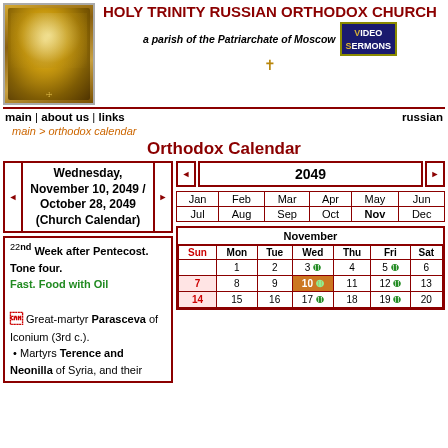[Figure (illustration): Orthodox Christian icon showing the Holy Trinity - three figures seated at a table, golden background, traditional Russian icon style]
HOLY TRINITY RUSSIAN ORTHODOX CHURCH
a parish of the Patriarchate of Moscow
[Figure (logo): Video Sermons badge/button - dark blue background with gold and white text reading VIDEO SERMONS]
✝
main | about us | links    russian
main > orthodox calendar
Orthodox Calendar
Wednesday, November 10, 2049 / October 28, 2049 (Church Calendar)
2049
22nd Week after Pentecost. Tone four.
Fast. Food with Oil
Great-martyr Parasceva of Iconium (3rd c.).
• Martyrs Terence and Neonilla of Syria, and their
| Jan | Feb | Mar | Apr | May | Jun | Jul | Aug | Sep | Oct | Nov | Dec |
| --- | --- | --- | --- | --- | --- | --- | --- | --- | --- | --- | --- |
| Jan | Feb | Mar | Apr | May | Jun |
| Jul | Aug | Sep | Oct | Nov | Dec |
| Sun | Mon | Tue | Wed | Thu | Fri | Sat |
| --- | --- | --- | --- | --- | --- | --- |
|  | 1 | 2 | 3 ⓘ | 4 | 5 ⓘ | 6 |
| 7 | 8 | 9 | 10 ⓘ | 11 | 12 ⓘ | 13 |
| 14 | 15 | 16 | 17 ⓘ | 18 | 19 ⓘ | 20 |